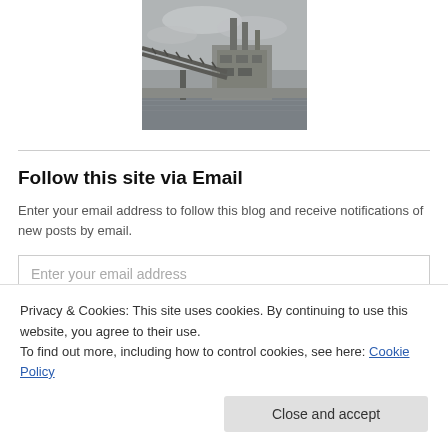[Figure (photo): Industrial facility or power plant with conveyor bridge and smokestacks, viewed from across water, overcast sky]
Follow this site via Email
Enter your email address to follow this blog and receive notifications of new posts by email.
Enter your email address
Privacy & Cookies: This site uses cookies. By continuing to use this website, you agree to their use.
To find out more, including how to control cookies, see here: Cookie Policy